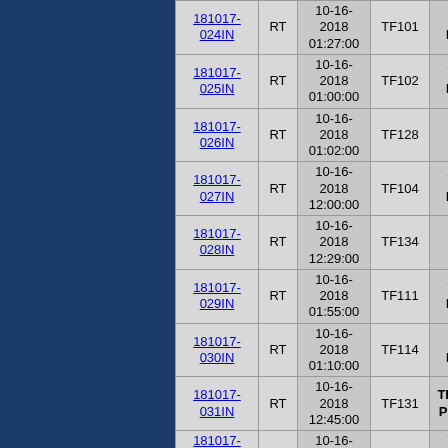| ID | Type | Date/Time | TF | Location | Lab |
| --- | --- | --- | --- | --- | --- |
| 181017-024IN | RT | 10-16-2018 01:27:00 | TF101 | Treatment Plant T101 | MSD LAB |
| 181017-025IN | RT | 10-16-2018 01:00:00 | TF102 | Treatment Plant T102 | MSD LAB |
| 181017-026IN | RT | 10-16-2018 01:02:00 | TF128 | null | MSD LAB |
| 181017-027IN | RT | 10-16-2018 12:00:00 | TF104 | Treatment Plant T104 | MSD LAB |
| 181017-028IN | RT | 10-16-2018 12:29:00 | TF134 | null | MSD LAB |
| 181017-029IN | RT | 10-16-2018 01:55:00 | TF111 | Treatment Plant T111 | MSD LAB |
| 181017-030IN | RT | 10-16-2018 01:10:00 | TF114 | Treatment Plant T114 | MSD LAB |
| 181017-031IN | RT | 10-16-2018 12:45:00 | TF131 | TREATMENT PLANT T131 | MSD LAB |
| 181017-... | RT | 10-16- | ... | Treatment... | MSD... |